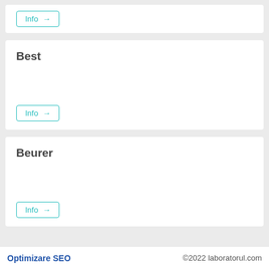[Figure (screenshot): Partial top card showing an Info button with arrow]
Best
Info →
Beurer
Info →
Optimizare SEO    ©2022 laboratorul.com